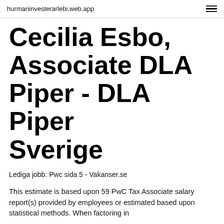hurmaninvesterarlebi.web.app
Cecilia Esbo, Associate DLA Piper - DLA Piper Sverige
Lediga jobb: Pwc sida 5 - Vakanser.se
This estimate is based upon 59 PwC Tax Associate salary report(s) provided by employees or estimated based upon statistical methods. When factoring in